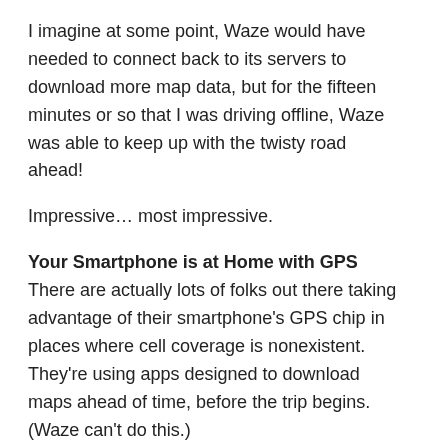I imagine at some point, Waze would have needed to connect back to its servers to download more map data, but for the fifteen minutes or so that I was driving offline, Waze was able to keep up with the twisty road ahead!
Impressive… most impressive.
Your Smartphone is at Home with GPS
There are actually lots of folks out there taking advantage of their smartphone's GPS chip in places where cell coverage is nonexistent. They're using apps designed to download maps ahead of time, before the trip begins. (Waze can't do this.)
But for me, I'm just exceptionally pleased knowing that Waze can survive for a while in a data-free zone using my iPhone's GPS radio.